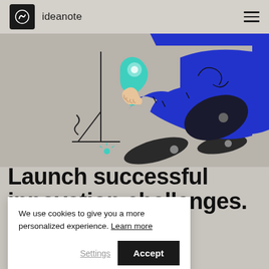[Figure (logo): ideanote logo — black square with white swirl icon, followed by text 'ideanote']
[Figure (illustration): Hero illustration on a tan/beige background showing a person in a blue outfit holding a teal location pin / lightbulb, with decorative line-art elements and dark leaf shapes on the ground]
Launch successful innovation challenges.
L… pants to come up w… challenge your b…
We use cookies to give you a more personalized experience. Learn more
Settings  Accept